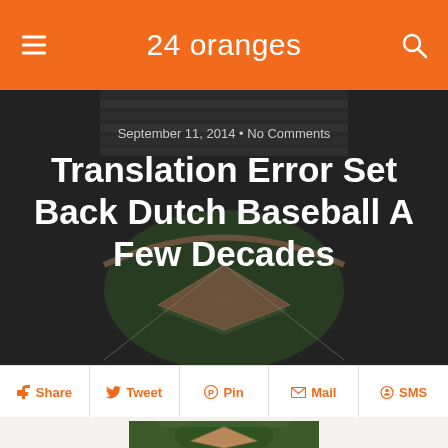24 oranges
September 11, 2014 • No Comments
Translation Error Set Back Dutch Baseball A Few Decades
Share  Tweet  Pin  Mail  SMS
[Figure (photo): Aerial view of a baseball stadium during a game with a full crowd in the stands]